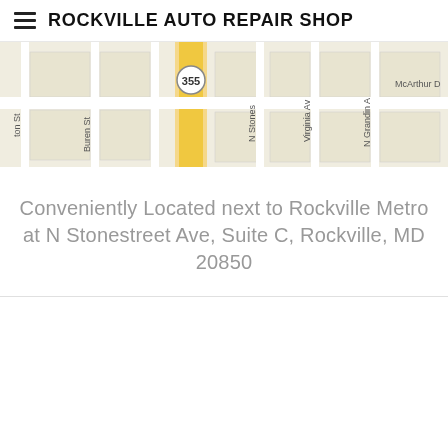ROCKVILLE AUTO REPAIR SHOP
[Figure (map): Street map showing Rockville area near Rockville Metro, showing streets including N Stonestreet Ave, N Virginia Ave, N Grandin Ave, McArthur Dr, Buren St, and route 355]
Conveniently Located next to Rockville Metro at N Stonestreet Ave, Suite C, Rockville, MD 20850